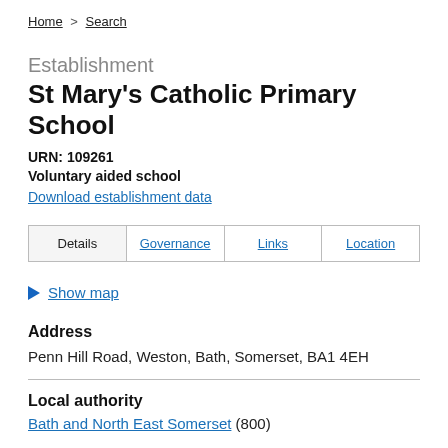Home > Search
Establishment
St Mary's Catholic Primary School
URN: 109261
Voluntary aided school
Download establishment data
| Details | Governance | Links | Location |
| --- | --- | --- | --- |
Show map
Address
Penn Hill Road, Weston, Bath, Somerset, BA1 4EH
Local authority
Bath and North East Somerset (800)